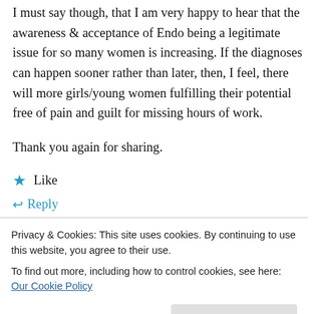I must say though, that I am very happy to hear that the awareness & acceptance of Endo being a legitimate issue for so many women is increasing. If the diagnoses can happen sooner rather than later, then, I feel, there will more girls/young women fulfilling their potential free of pain and guilt for missing hours of work.

Thank you again for sharing.
★ Like
↩ Reply
Privacy & Cookies: This site uses cookies. By continuing to use this website, you agree to their use. To find out more, including how to control cookies, see here: Our Cookie Policy
Close and accept
mentioned to my mother and family doctor that